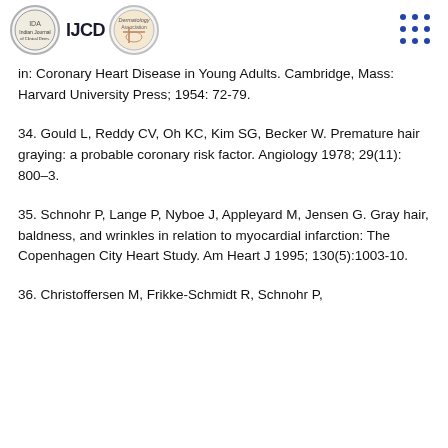IJCD - Indian Journal of Clinical Dermatology
in: Coronary Heart Disease in Young Adults. Cambridge, Mass: Harvard University Press; 1954: 72-79.
34. Gould L, Reddy CV, Oh KC, Kim SG, Becker W. Premature hair graying: a probable coronary risk factor. Angiology 1978; 29(11): 800–3.
35. Schnohr P, Lange P, Nyboe J, Appleyard M, Jensen G. Gray hair, baldness, and wrinkles in relation to myocardial infarction: The Copenhagen City Heart Study. Am Heart J 1995; 130(5):1003-10.
36. Christoffersen M, Frikke-Schmidt R, Schnohr P,